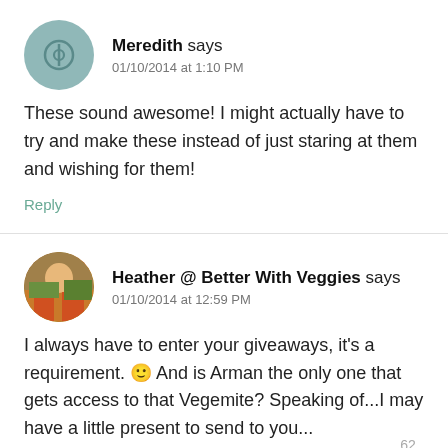Meredith says 01/10/2014 at 1:10 PM
These sound awesome! I might actually have to try and make these instead of just staring at them and wishing for them!
Reply
Heather @ Better With Veggies says 01/10/2014 at 12:59 PM
I always have to enter your giveaways, it's a requirement. 🙂 And is Arman the only one that gets access to that Vegemite? Speaking of...I may have a little present to send to you...